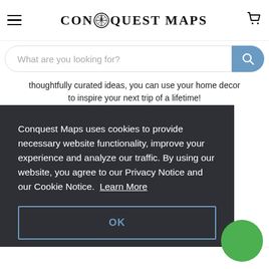Conquest Maps — navigation header with menu icon, logo, and cart icon
[Figure (screenshot): Search bar with placeholder text 'What are you looking for?' and a blue search button with magnifying glass icon]
thoughtfully curated ideas, you can use your home decor to inspire your next trip of a lifetime!
Conquest Maps uses cookies to provide necessary website functionality, improve your experience and analyze our traffic. By using our website, you agree to our Privacy Notice and our Cookie Notice. Learn More
OK